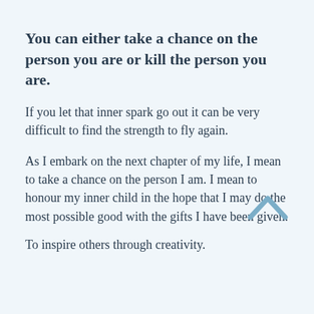You can either take a chance on the person you are or kill the person you are.
If you let that inner spark go out it can be very difficult to find the strength to fly again.
As I embark on the next chapter of my life, I mean to take a chance on the person I am. I mean to honour my inner child in the hope that I may do the most possible good with the gifts I have been given.
To inspire others through creativity.